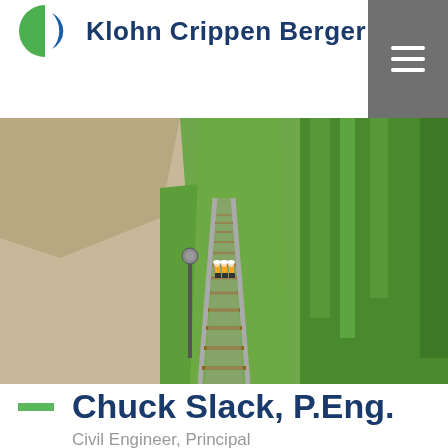Klohn Crippen Berger
[Figure (photo): Aerial view of a railway track running through green landscape with trees on the right side and sandy terrain on the left. Three workers in yellow safety vests and hard hats stand between the tracks in the middle distance.]
Chuck Slack, P.Eng.
Civil Engineer, Principal